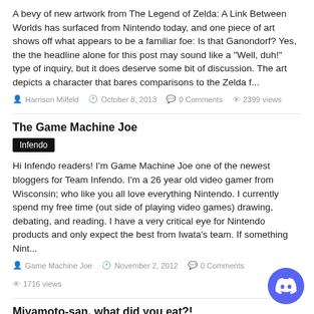A bevy of new artwork from The Legend of Zelda: A Link Between Worlds has surfaced from Nintendo today, and one piece of art shows off what appears to be a familiar foe: Is that Ganondorf? Yes, the the headline alone for this post may sound like a "Well, duh!" type of inquiry, but it does deserve some bit of discussion. The art depicts a character that bares comparisons to the Zelda f...
Harrison Milfeld  October 8, 2013  0 Comments  2399 views
The Game Machine Joe
Infendo
Hi Infendo readers! I'm Game Machine Joe one of the newest bloggers for Team Infendo. I'm a 26 year old video gamer from Wisconsin; who like you all love everything Nintendo. I currently spend my free time (out side of playing video games) drawing, debating, and reading. I have a very critical eye for Nintendo products and only expect the best from Iwata's team. If something Nint...
Game Machine Joe  November 2, 2012  0 Comments  1716 views
Miyamoto-san, what did you eat?!